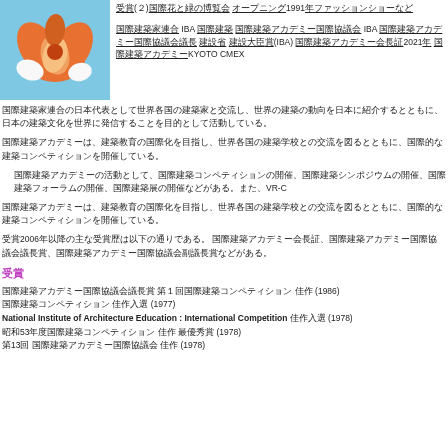[Figure (photo): Close-up photo of orange and white flowers against a blue background]
受賞(２)国際花と緑の博覧会 オープニング1991年ファッションショーなど
国際建築家連合 IBA 国際建築アカデミー国際協議会 IBA 国際建築アカデミー国際協議会議長 建設省 建設大臣賞(IBA) 国際建築アカデミー会長証2021年 国際建築アカデミーKYOTO SMEX
国際建築家連合の日本代表として世界各国の建築家と交流し、世界の建築の動向を日本に紹介するとともに、日本の建築文化を世界に発信することを目的として活動している。
国際建築アカデミーは、建築教育の国際化を目指し、世界各国の建築学校との交流を図るとともに、国際的な建築コンペティションを開催している。
国際建築アカデミーの活動として、国際建築コンペティションの開催、国際建築シンポジウムの開催、国際建築フォーラムの開催、国際建築展の開催などがある。また、VR-C
国際建築アカデミーは、建築教育の国際化を目指し、世界各国の建築学校との交流を図るとともに、国際的な建築コンペティションを開催している。
受賞2006年以降の主な受賞歴は以下の通りである。 国際建築アカデミー会長証、国際建築アカデミー国際協議会議長賞、国際建築アカデミー国際協議会副議長賞などがある。
受賞
国際建築アカデミー国際協議会議長賞 第１回国際建築コンペティション 佳作 (1986)
国際建築コンペティション 佳作入選 (1977)
National Institute of Architecture Education : International Competition 佳作入選 (1978)
昭和53年度国際建築コンペティション 佳作 最優秀賞 (1978)
第13回 国際建築アカデミー国際協議会 佳作 (1978)